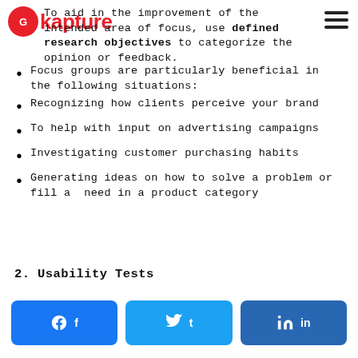Kapture logo and navigation
To aid in the improvement of the intended area of focus, use defined research objectives to categorize the opinion or feedback.
Focus groups are particularly beneficial in the following situations:
Recognizing how clients perceive your brand
To help with input on advertising campaigns
Investigating customer purchasing habits
Generating ideas on how to solve a problem or fill a need in a product category
2. Usability Tests
Share buttons: Facebook, Twitter, LinkedIn